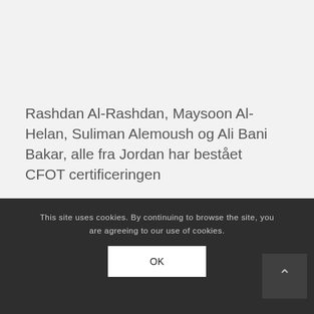Rashdan Al-Rashdan, Maysoon Al-Helan, Suliman Alemoush og Ali Bani Bakar, alle fra Jordan har bestået CFOT certificeringen
This site uses cookies. By continuing to browse the site, you are agreeing to our use of cookies.